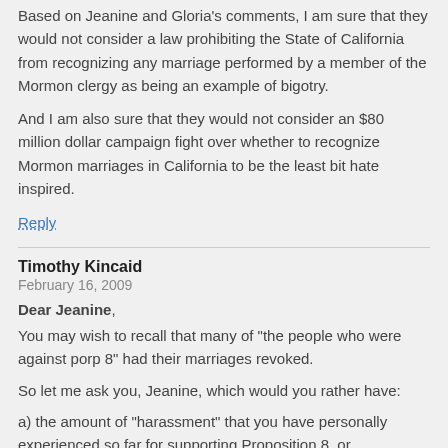Based on Jeanine and Gloria's comments, I am sure that they would not consider a law prohibiting the State of California from recognizing any marriage performed by a member of the Mormon clergy as being an example of bigotry.
And I am also sure that they would not consider an $80 million dollar campaign fight over whether to recognize Mormon marriages in California to be the least bit hate inspired.
Reply
Timothy Kincaid
February 16, 2009
Dear Jeanine,
You may wish to recall that many of "the people who were against porp 8" had their marriages revoked.
So let me ask you, Jeanine, which would you rather have:
a) the amount of "harassment" that you have personally experienced so far for supporting Proposition 8, or
b) having your marriage revoked by a vote of stranger?